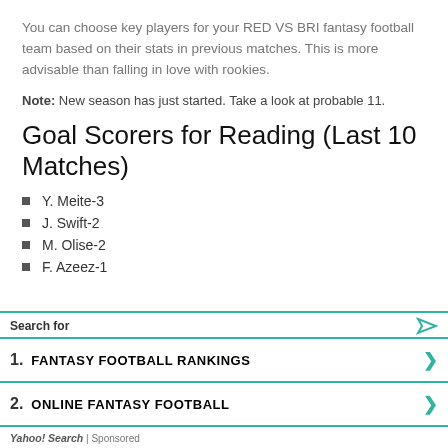You can choose key players for your RED VS BRI fantasy football team based on their stats in previous matches. This is more advisable than falling in love with rookies.
Note: New season has just started. Take a look at probable 11.
Goal Scorers for Reading (Last 10 Matches)
Y. Meite-3
J. Swift-2
M. Olise-2
F. Azeez-1
[Figure (infographic): Yahoo Search sponsored ad box with two results: 1. FANTASY FOOTBALL RANKINGS and 2. ONLINE FANTASY FOOTBALL, each with a green chevron arrow. Header reads 'Search for' with a play/send icon. Footer reads 'Yahoo! Search | Sponsored'.]